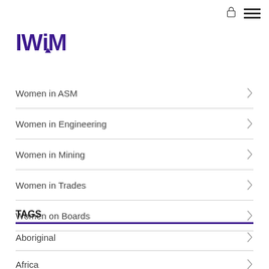[Figure (logo): IWiM logo in dark purple, bold large letters]
Women in ASM
Women in Engineering
Women in Mining
Women in Trades
Women on Boards
TAGS
Aboriginal
Africa